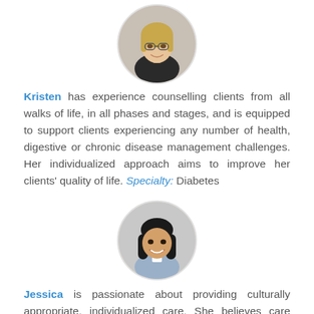[Figure (photo): Circular profile photo of Kristen, a woman with blonde hair and glasses]
Kristen has experience counselling clients from all walks of life, in all phases and stages, and is equipped to support clients experiencing any number of health, digestive or chronic disease management challenges. Her individualized approach aims to improve her clients' quality of life. Specialty: Diabetes
[Figure (photo): Circular profile photo of Jessica, a young woman with long dark hair]
Jessica is passionate about providing culturally appropriate, individualized care. She believes care plans should be unique and personalized, based on lifestyle preferences and health and